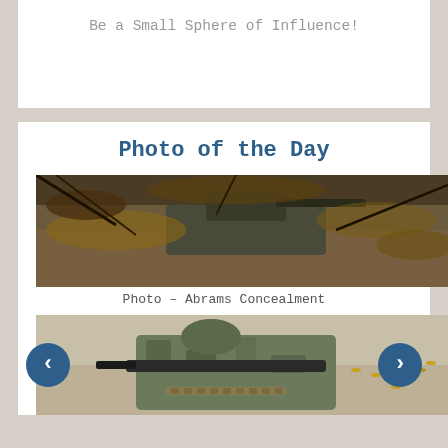Be a Small Sphere of Influence!
Photo of the Day
[Figure (photo): Military Abrams tank concealed in brush and dry leaves in a wooded area]
Photo – Abrams Concealment
[Figure (photo): Soldier in camouflage uniform firing a machine gun with bullet casings scattered around]